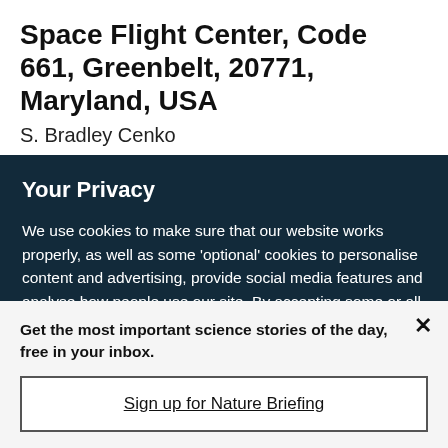Space Flight Center, Code 661, Greenbelt, 20771, Maryland, USA
S. Bradley Cenko
Your Privacy
We use cookies to make sure that our website works properly, as well as some 'optional' cookies to personalise content and advertising, provide social media features and analyse how people use our site. By accepting some or all optional cookies you give consent to the processing of your personal data, including transfer to third parties, some in countries outside of the European Economic Area that do not offer the same data protection standards as the country where you live. You can decide which optional cookies to accept by clicking on 'Manage Settings', where you can
Get the most important science stories of the day, free in your inbox.
Sign up for Nature Briefing